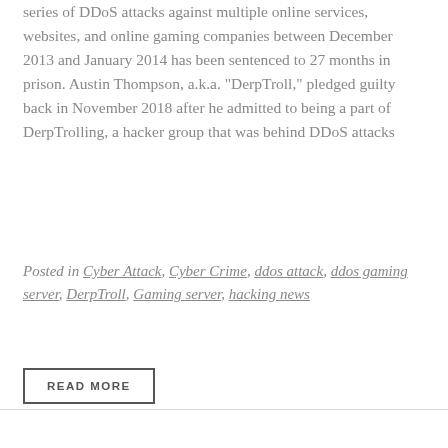series of DDoS attacks against multiple online services, websites, and online gaming companies between December 2013 and January 2014 has been sentenced to 27 months in prison. Austin Thompson, a.k.a. "DerpTroll," pledged guilty back in November 2018 after he admitted to being a part of DerpTrolling, a hacker group that was behind DDoS attacks
Posted in Cyber Attack, Cyber Crime, ddos attack, ddos gaming server, DerpTroll, Gaming server, hacking news
READ MORE